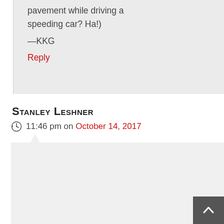you, scraping the knife on pavement while driving a speeding car? Ha!)
—KKG
Reply
Stanley Leshner
11:46 pm on October 14, 2017
What are your thoughts about Cutco knives? As a male, I feel the handle is too small for my hands.